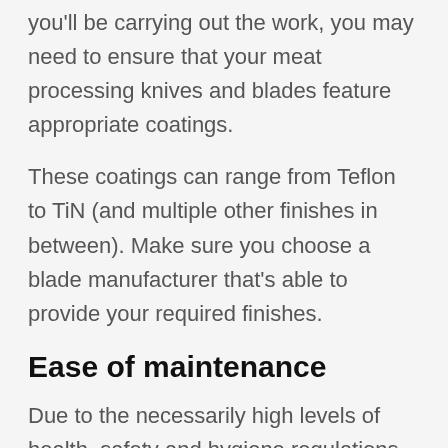you'll be carrying out the work, you may need to ensure that your meat processing knives and blades feature appropriate coatings.
These coatings can range from Teflon to TiN (and multiple other finishes in between). Make sure you choose a blade manufacturer that's able to provide your required finishes.
Ease of maintenance
Due to the necessarily high levels of health, safety and hygiene regulations associated with meat processing, it's important that blades and knives are easy to remove, clean and generally be kept in top condition.
As such, it's important that you work with a